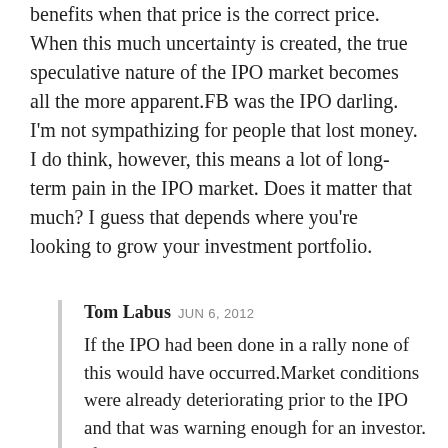benefits when that price is the correct price. When this much uncertainty is created, the true speculative nature of the IPO market becomes all the more apparent.FB was the IPO darling. I'm not sympathizing for people that lost money. I do think, however, this means a lot of long-term pain in the IPO market. Does it matter that much? I guess that depends where you're looking to grow your investment portfolio.
Tom Labus JUN 6, 2012
If the IPO had been done in a rally none of this would have occurred.Market conditions were already deteriorating prior to the IPO and that was warning enough for an investor. If you would not start any other trade during that time why would FB be any different.Many companies get off to rough